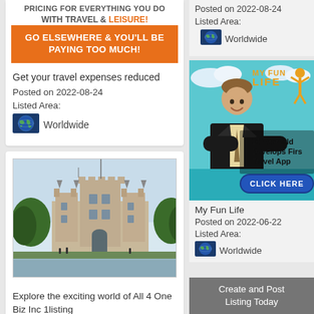[Figure (illustration): Ad banner: PRICING FOR EVERYTHING TRAVEL & LEISURE with orange background button GO ELSEWHERE & YOU'LL BE PAYING TOO MUCH!]
Get your travel expenses reduced
Posted on 2022-08-24
Listed Area:
[Figure (illustration): Globe/world map icon]
Worldwide
[Figure (photo): Photo of Tower of London castle with trees and water in foreground]
Explore the exciting world of All 4 One Biz Inc 1listing
Posted on 2022-08-10
Posted on 2022-08-24
Listed Area:
Worldwide
[Figure (advertisement): My Fun Life ad: 16 Year Old Develops First Travel App CLICK HERE, man in suit with teal background]
My Fun Life
Posted on 2022-06-22
Listed Area:
Worldwide
Create and Post Listing Today